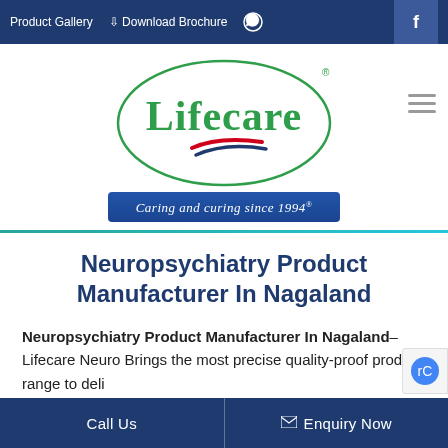Product Gallery   Download Brochure   [WhatsApp icon]   [Facebook icon]
[Figure (logo): Lifecare logo: oval with green 'Lifecare' text, red and blue swoosh, tagline banner 'Caring and curing since 1994']
Neuropsychiatry Product Manufacturer In Nagaland
Neuropsychiatry Product Manufacturer In Nagaland– Lifecare Neuro Brings the most precise quality-proof product range to deli
Call Us   Enquiry Now